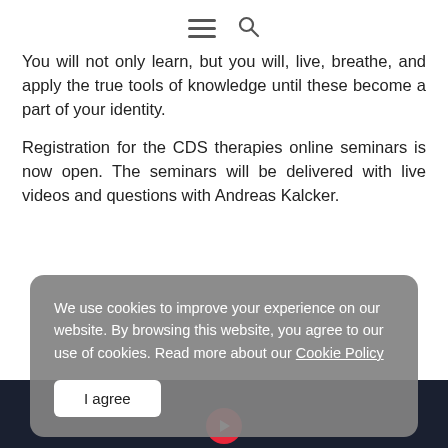[hamburger menu icon] [search icon]
You will not only learn, but you will, live, breathe, and apply the true tools of knowledge until these become a part of your identity.
Registration for the CDS therapies online seminars is now open. The seminars will be delivered with live videos and questions with Andreas Kalcker.
We use cookies to improve your experience on our website. By browsing this website, you agree to our use of cookies. Read more about our Cookie Policy
I agree